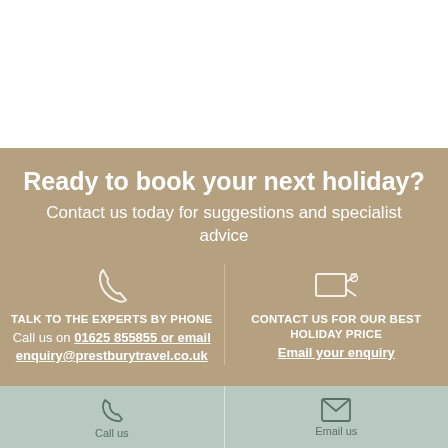[Figure (other): White blank top section]
Ready to book your next holiday?
Contact us today for suggestions and specialist advice
TALK TO THE EXPERTS BY PHONE
Call us on 01625 855855 or email enquiry@prestburytravel.co.uk
CONTACT US FOR OUR BEST HOLIDAY PRICE
Email your enquiry
[Figure (other): Footer bar with phone icon (Call us) and email icon (Email us) on sage green background]